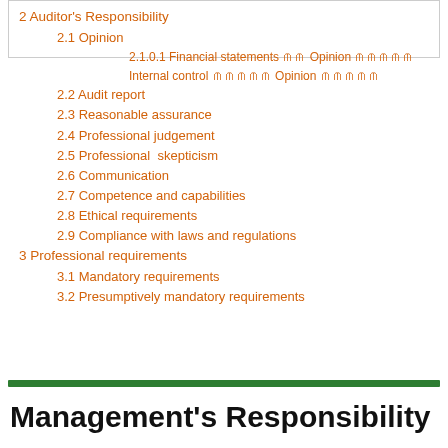2 Auditor's Responsibility
2.1 Opinion
2.1.0.1 Financial statements ᯼᯼ Opinion ᯼᯼᯼᯼᯼
Internal control ᯼᯼᯼᯼᯼ Opinion ᯼᯼᯼᯼᯼
2.2 Audit report
2.3 Reasonable assurance
2.4 Professional judgement
2.5 Professional  skepticism
2.6 Communication
2.7 Competence and capabilities
2.8 Ethical requirements
2.9 Compliance with laws and regulations
3 Professional requirements
3.1 Mandatory requirements
3.2 Presumptively mandatory requirements
Management's Responsibility